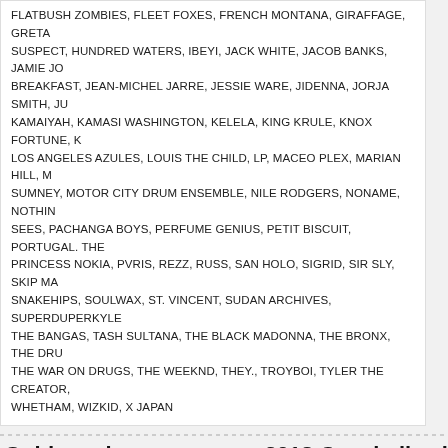FLATBUSH ZOMBIES, FLEET FOXES, FRENCH MONTANA, GIRAFFAGE, GRETA SUSPECT, HUNDRED WATERS, IBEYI, JACK WHITE, JACOB BANKS, JAMIE JO BREAKFAST, JEAN-MICHEL JARRE, JESSIE WARE, JIDENNA, JORJA SMITH, JU KAMAIYAH, KAMASI WASHINGTON, KELELA, KING KRULE, KNOX FORTUNE, K LOS ANGELES AZULES, LOUIS THE CHILD, LP, MACEO PLEX, MARIAN HILL, M SUMNEY, MOTOR CITY DRUM ENSEMBLE, NILE RODGERS, NONAME, NOTHIN SEES, PACHANGA BOYS, PERFUME GENIUS, PETIT BISCUIT, PORTUGAL. THE PRINCESS NOKIA, PVRIS, REZZ, RUSS, SAN HOLO, SIGRID, SIR SLY, SKIP MA SNAKEHIPS, SOULWAX, ST. VINCENT, SUDAN ARCHIVES, SUPERDUPERKYLE THE BANGAS, TASH SULTANA, THE BLACK MADONNA, THE BRONX, THE DRU THE WAR ON DRUGS, THE WEEKND, THEY., TROYBOI, TYLER THE CREATOR, WHETHAM, WIZKID, X JAPAN
Goldenvoice announces 2018 Coachella sideshow
[Figure (screenshot): DuckDuckGo advertisement banner with orange background. Text reads 'Search, browse, and email with more privacy. All in One Free App' with DuckDuckGo logo and phone graphic.]